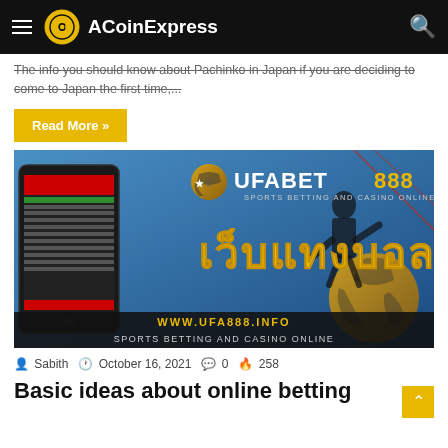ACoinExpress
The info you should know about Pachinko in Japan if you are deciding to come to Japan the first time,...
Read More »
[Figure (illustration): UFABET888 sports betting and casino online promotional banner with Thai text and a football, with a smartphone showing a betting app interface. URL: www.ufa888.info]
Sabith   October 16, 2021   0   258
Basic ideas about online betting